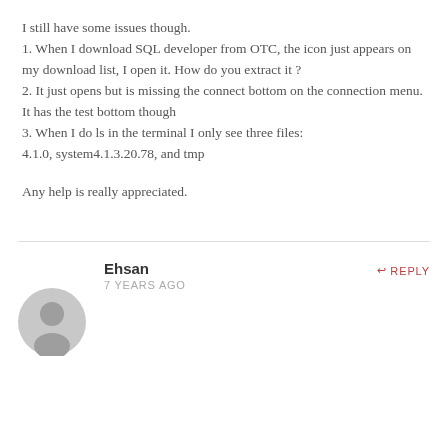I still have some issues though.
1. When I download SQL developer from OTC, the icon just appears on my download list, I open it. How do you extract it ?
2. It just opens but is missing the connect bottom on the connection menu. It has the test bottom though
3. When I do ls in the terminal I only see three files:
4.1.0, system4.1.3.20.78, and tmp
Any help is really appreciated.
Ehsan
7 YEARS AGO
REPLY
[Figure (illustration): User avatar: grey silhouette of a person's head and shoulders on a light grey circular background]